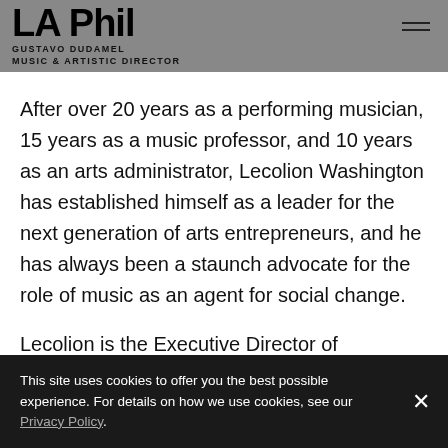LA Phil | GUSTAVO DUDAMEL | MUSIC & ARTISTIC DIRECTOR | ARTISTS ON TOUR
After over 20 years as a performing musician, 15 years as a music professor, and 10 years as an arts administrator, Lecolion Washington has established himself as a leader for the next generation of arts entrepreneurs, and he has always been a staunch advocate for the role of music as an agent for social change.
Lecolion is the Executive Director of Community Music Center of Boston. Prior to moving to Boston, Lecolion was the Co-Founder/Executive Director of the PRIZM Ensemble in Memphis from 20092017, and he was the founder of the PRIZM International Chamber Music
This site uses cookies to offer you the best possible experience. For details on how we use cookies, see our Privacy Policy.